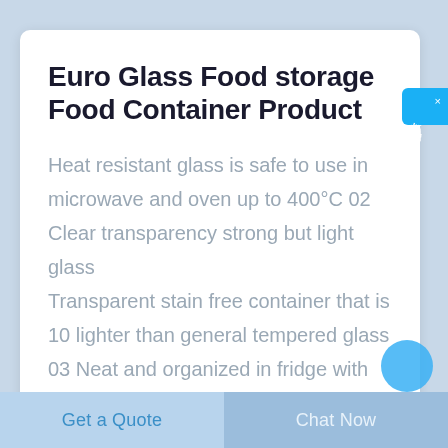Euro Glass Food storage Food Container Product
Heat resistant glass is safe to use in microwave and oven up to 400°C 02 Clear transparency strong but light glass Transparent stain free container that is 10 lighter than general tempered glass 03 Neat and organized in fridge with
在线咨询
Get a Quote
Chat Now